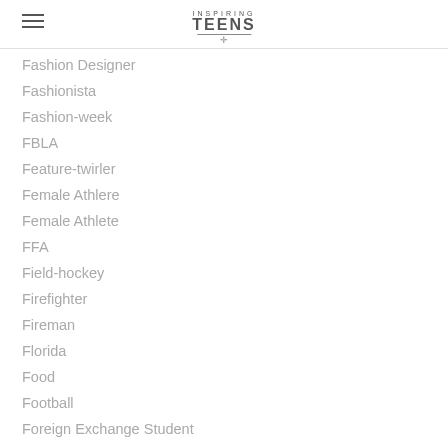INSPIRING TEENS
Fashion Designer
Fashionista
Fashion-week
FBLA
Feature-twirler
Female Athlere
Female Athlete
FFA
Field-hockey
Firefighter
Fireman
Florida
Food
Football
Foreign Exchange Student
Foster Care
Founders-classical-academy
France